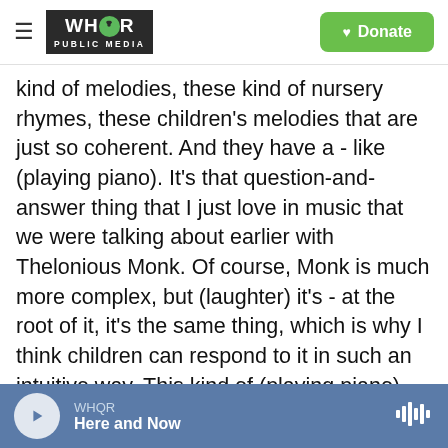WHQR PUBLIC MEDIA | Donate
kind of melodies, these kind of nursery rhymes, these children's melodies that are just so coherent. And they have a - like (playing piano). It's that question-and-answer thing that I just love in music that we were talking about earlier with Thelonious Monk. Of course, Monk is much more complex, but (laughter) it's - at the root of it, it's the same thing, which is why I think children can respond to it in such an intuitive way. This kind of (playing piano). And then (playing piano). And that's it. Oh, I get it. Now, if you put a bassline on it and some different harmonies on it, you can get a vibe like a (playing piano). Get some church on it.
WHQR | Here and Now